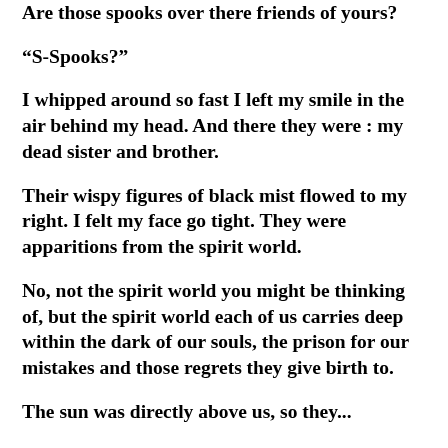Are those spooks over there friends of yours?
“S-Spooks?”
I whipped around so fast I left my smile in the air behind my head. And there they were : my dead sister and brother.
Their wispy figures of black mist flowed to my right. I felt my face go tight. They were apparitions from the spirit world.
No, not the spirit world you might be thinking of, but the spirit world each of us carries deep within the dark of our souls, the prison for our mistakes and those regrets they give birth to.
The sun was directly above us, so they...